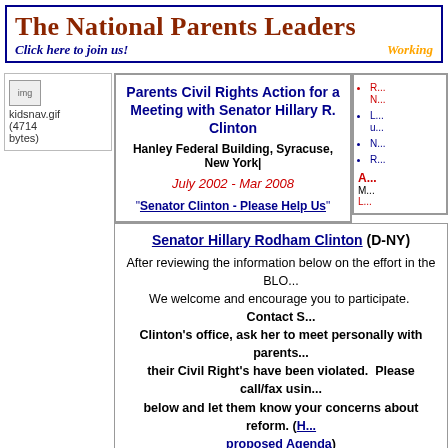The National Parents Leadership - Click here to join us! Working
[Figure (other): kidsnav.gif placeholder image (4714 bytes)]
Parents Civil Rights Action for a Meeting with Senator Hillary R. Clinton
Hanley Federal Building, Syracuse, New York|
July 2002 - Mar 2008
"Senator Clinton - Please Help Us"
Link 1
Link 2
Link 3
Link 4
A... M... L...
Senator Hillary Rodham Clinton (D-NY)
After reviewing the information below on the effort in the BLO... We welcome and encourage you to participate. Contact S... Clinton's office, ask her to meet personally with parents... their Civil Right's have been violated. Please call/fax usin... below and let them know your concerns about reform. (H... proposed Agenda)